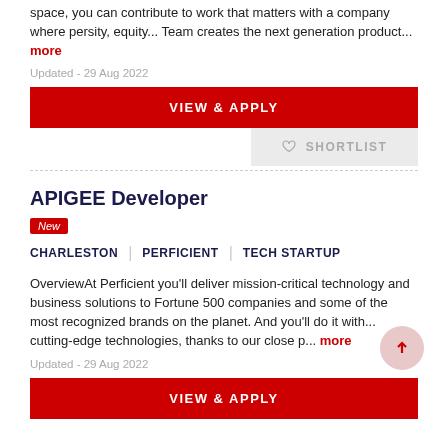space, you can contribute to work that matters with a company where persity, equity... Team creates the next generation product... more
Updated - 29 Aug 2022
VIEW & APPLY
SHORTLIST
APIGEE Developer
New
CHARLESTON | PERFICIENT | TECH STARTUP
OverviewAt Perficient you'll deliver mission-critical technology and business solutions to Fortune 500 companies and some of the most recognized brands on the planet. And you'll do it with... cutting-edge technologies, thanks to our close p... more
Updated - 29 Aug 2022
VIEW & APPLY